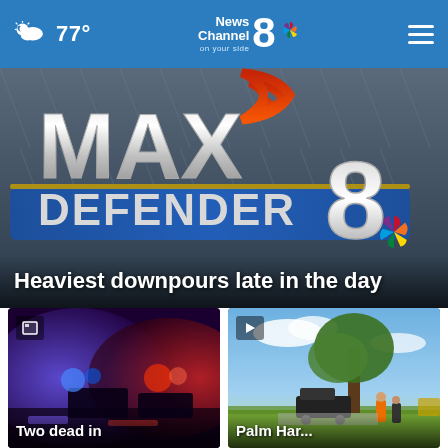77° | News Channel 8 on your side
[Figure (screenshot): Max Defender 8 weather logo on blue/metallic background — large 3D silver MAX text with red signal waves and a large metallic 8 with NBC peacock logo]
Heaviest downpours late in the day
[Figure (photo): Police vehicles with flashing blue and red lights on a rainy road at night — thumbnail image]
Two dead in
[Figure (photo): Two people standing near a tree and truck outdoors in daylight — thumbnail image]
Palm Har...